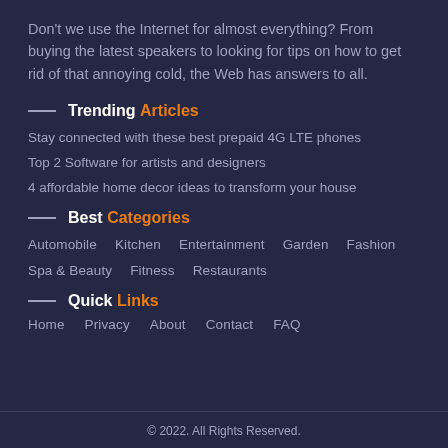Don't we use the Internet for almost everything? From buying the latest speakers to looking for tips on how to get rid of that annoying cold, the Web has answers to all.
Trending Articles
Stay connected with these best prepaid 4G LTE phones
Top 2 Software for artists and designers
4 affordable home decor ideas to transform your house
Best Categories
Automobile   Kitchen   Entertainment   Garden   Fashion   Spa & Beauty   Fitness   Restaurants
Quick Links
Home   Privacy   About   Contact   FAQ
© 2022. All Rights Reserved.